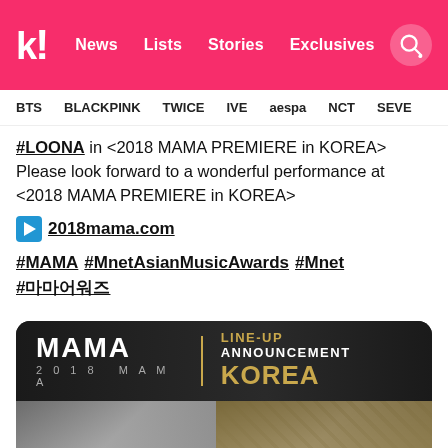kpopchart! News Lists Stories Exclusives
BTS BLACKPINK TWICE IVE aespa NCT SEVE
#LOONA in <2018 MAMA PREMIERE in KOREA>
Please look forward to a wonderful performance at <2018 MAMA PREMIERE in KOREA>
▶2018mama.com
#MAMA #MnetAsianMusicAwards #Mnet #마마
[Figure (photo): 2018 MAMA Line-up Announcement Korea banner image showing MAMA logo in white text, a gold vertical divider, and 'LINE-UP ANNOUNCEMENT KOREA' text in white and gold on a dark background, with partial images below.]